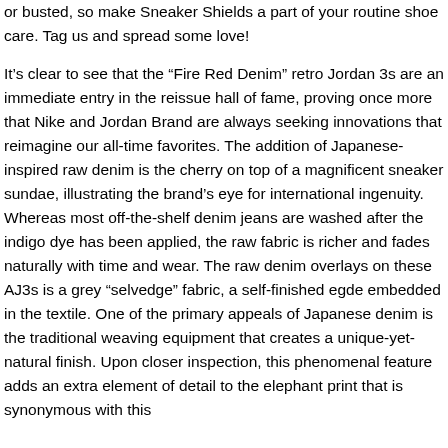or busted, so make Sneaker Shields a part of your routine shoe care. Tag us and spread some love!
It’s clear to see that the “Fire Red Denim” retro Jordan 3s are an immediate entry in the reissue hall of fame, proving once more that Nike and Jordan Brand are always seeking innovations that reimagine our all-time favorites. The addition of Japanese-inspired raw denim is the cherry on top of a magnificent sneaker sundae, illustrating the brand’s eye for international ingenuity. Whereas most off-the-shelf denim jeans are washed after the indigo dye has been applied, the raw fabric is richer and fades naturally with time and wear. The raw denim overlays on these AJ3s is a grey “selvedge” fabric, a self-finished egde embedded in the textile. One of the primary appeals of Japanese denim is the traditional weaving equipment that creates a unique-yet-natural finish. Upon closer inspection, this phenomenal feature adds an extra element of detail to the elephant print that is synonymous with this